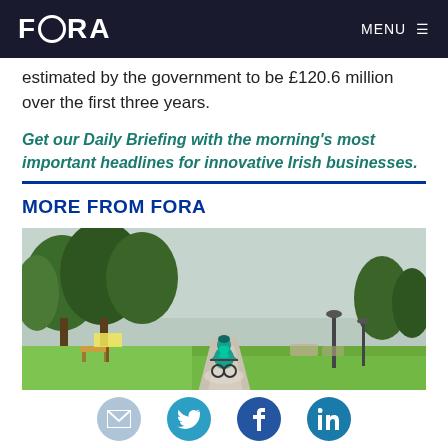FORA   MENU
estimated by the government to be £120.6 million over the first three years.
Get our Daily Briefing with the morning's most important headlines for innovative Irish businesses.
MORE FROM FORA
[Figure (photo): A cyclist seen from behind riding along a tree-lined park path, carrying a delivery backpack, with lamp posts and parked cars in the background.]
Farewell from Fora: A pleasure doing
Social share icons: email, twitter, facebook, linkedin